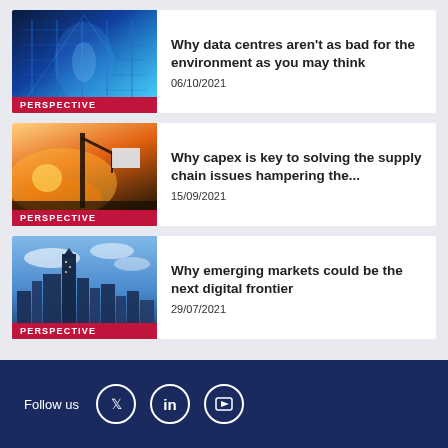[Figure (photo): Data centre with blue lighting and server racks]
PERSPECTIVE
Why data centres aren't as bad for the environment as you may think
06/10/2021
[Figure (photo): Industrial worker or crane against orange sunset sky]
PERSPECTIVE
Why capex is key to solving the supply chain issues hampering the...
15/09/2021
[Figure (photo): City skyline with tall buildings under blue sky]
PERSPECTIVE
Why emerging markets could be the next digital frontier
29/07/2021
Follow us